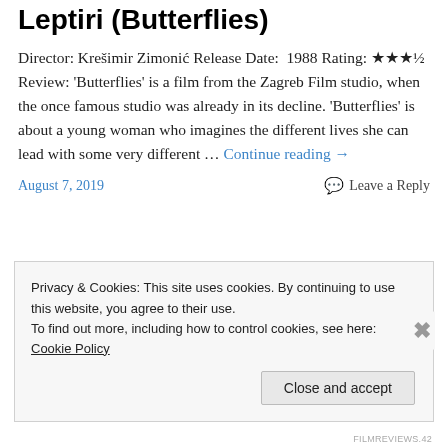Leptiri (Butterflies)
Director: Krešimir Zimonić Release Date:  1988 Rating: ★★★½ Review: 'Butterflies' is a film from the Zagreb Film studio, when the once famous studio was already in its decline. 'Butterflies' is about a young woman who imagines the different lives she can lead with some very different … Continue reading →
August 7, 2019   Leave a Reply
Privacy & Cookies: This site uses cookies. By continuing to use this website, you agree to their use.
To find out more, including how to control cookies, see here: Cookie Policy